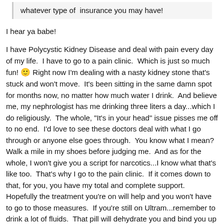whatever type of insurance you may have!
I hear ya babe!
I have Polycystic Kidney Disease and deal with pain every day of my life. I have to go to a pain clinic. Which is just so much fun! 🙂 Right now I'm dealing with a nasty kidney stone that's stuck and won't move. It's been sitting in the same damn spot for months now, no matter how much water I drink. And believe me, my nephrologist has me drinking three liters a day...which I do religiously. The whole, "It's in your head" issue pisses me off to no end. I'd love to see these doctors deal with what I go through or anyone else goes through. You know what I mean? Walk a mile in my shoes before judging me. And as for the whole, I won't give you a script for narcotics...I know what that's like too. That's why I go to the pain clinic. If it comes down to that, for you, you have my total and complete support. Hopefully the treatment you're on will help and you won't have to go to those measures. If you're still on Ultram...remember to drink a lot of fluids. That pill will dehydrate you and bind you up BIG TIME.
You don't sound like an unreasonable grump to me. Pain is a